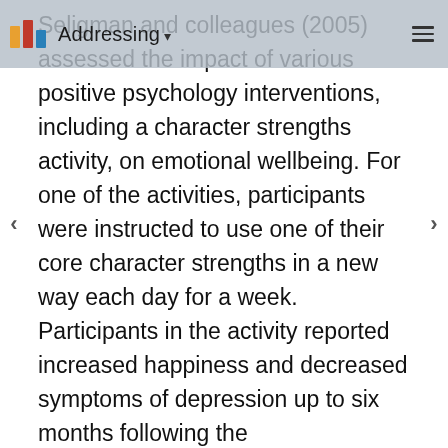Addressing
Seligman and colleagues (2005) assessed the impact of various positive psychology interventions, including a character strengths activity, on emotional wellbeing. For one of the activities, participants were instructed to use one of their core character strengths in a new way each day for a week. Participants in the activity reported increased happiness and decreased symptoms of depression up to six months following the intervention(Seligman et al., 2005). Mollie McCullough(2015) studied this same intervention, but with a small group of elementary school teachers. Teachers participated in four, hour-long sessions over the course of 2 weeks in